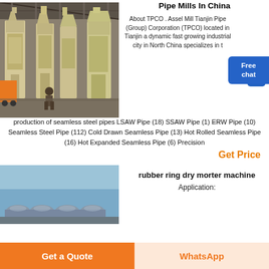[Figure (photo): Industrial pipe mill machinery inside a large warehouse/factory building, with tall white industrial equipment and a worker visible.]
Pipe Mills In China
About TPCO . Assel Mill Tianjin Pipe (Group) Corporation (TPCO) located in Tianjin a dynamic fast growing industrial city in North China specializes in the production of seamless steel pipes LSAW Pipe (18) SSAW Pipe (1) ERW Pipe (10) Seamless Steel Pipe (112) Cold Drawn Seamless Pipe (13) Hot Rolled Seamless Pipe (16) Hot Expanded Seamless Pipe (6) Precision
Get Price
[Figure (photo): Outdoor view of large industrial domes or tanks under a blue sky.]
rubber ring dry morter machine
Application: